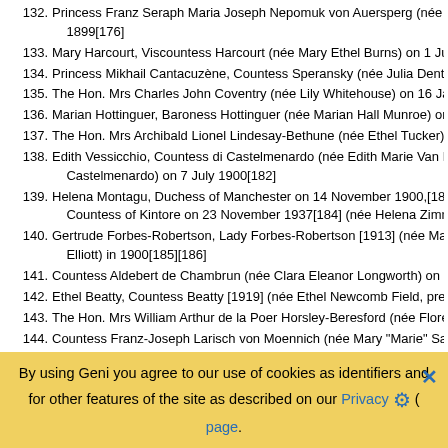132. Princess Franz Seraph Maria Joseph Nepomuk von Auersperg (née Flore... 1899[176]
133. Mary Harcourt, Viscountess Harcourt (née Mary Ethel Burns) on 1 July 18...
134. Princess Mikhail Cantacuzène, Countess Speransky (née Julia Dent Gra...
135. The Hon. Mrs Charles John Coventry (née Lily Whitehouse) on 16 Janua...
136. Marian Hottinguer, Baroness Hottinguer (née Marian Hall Munroe) on 23...
137. The Hon. Mrs Archibald Lionel Lindesay-Bethune (née Ethel Tucker) on 3...
138. Edith Vessicchio, Countess di Castelmenardo (née Edith Marie Van Bure... Castelmenardo) on 7 July 1900[182]
139. Helena Montagu, Duchess of Manchester on 14 November 1900,[183] th... Countess of Kintore on 23 November 1937[184] (née Helena Zimmerman...
140. Gertrude Forbes-Robertson, Lady Forbes-Robertson [1913] (née May Ge... Elliott) in 1900[185][186]
141. Countess Aldebert de Chambrun (née Clara Eleanor Longworth) on 19 F...
142. Ethel Beatty, Countess Beatty [1919] (née Ethel Newcomb Field, previous...
143. The Hon. Mrs William Arthur de la Poer Horsley-Beresford (née Florence...
144. Countess Franz-Joseph Larisch von Moennich (née Mary "Marie" Satterfi... [192]
By using Geni you agree to our use of cookies as identifiers and for other features of the site as described on our Privacy page.